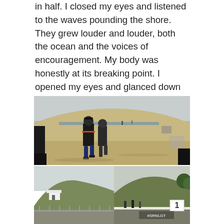in half. I closed my eyes and listened to the waves pounding the shore. They grew louder and louder, both the ocean and the voices of encouragement. My body was honestly at its breaking point. I opened my eyes and glanced down at my feet cutting through the sand and my mind flew back to Basic Training, then to my Iraq deployment… when I felt most capable, most relevant, most alive.
[Figure (photo): Wide-angle fisheye photo of people running on a sandy beach under an overcast sky. Two figures in dark athletic clothing are visible on the curved sand, with the ocean horizon in the background.]
[Figure (photo): Two smaller photos side by side at the bottom: left shows a coastal cliff with a white building, right shows a race/event scene with a number '1' marker and text '#SRNLGT'.]